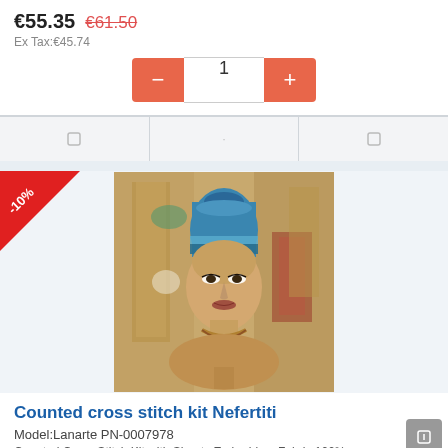€55.35  €61.50
Ex Tax:€45.74
1
[Figure (screenshot): Product quantity selector with minus and plus buttons in orange-red, showing quantity 1]
[Figure (photo): Painted artwork of Nefertiti Egyptian queen with blue crown and colorful background, cross stitch kit product image]
-10%
Counted cross stitch kit Nefertiti
Model:Lanarte PN-0007978
Counted Cross Stitch Kit with Sheets Embroidery Fabric 100%...